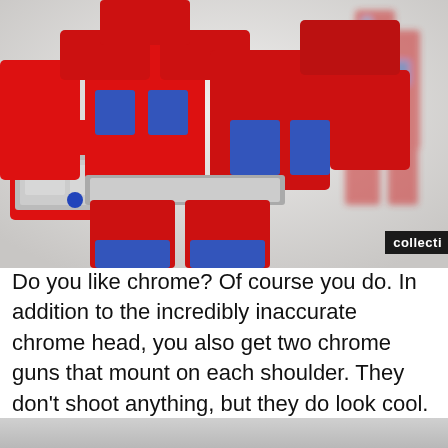[Figure (photo): Close-up photo of a red and blue Transformers Optimus Prime action figure/toy, showing the chest and shoulder area with chrome silver details and blue accent panels. Shot against a light grey/white background.]
Do you like chrome? Of course you do. In addition to the incredibly inaccurate chrome head, you also get two chrome guns that mount on each shoulder. They don't shoot anything, but they do look cool.